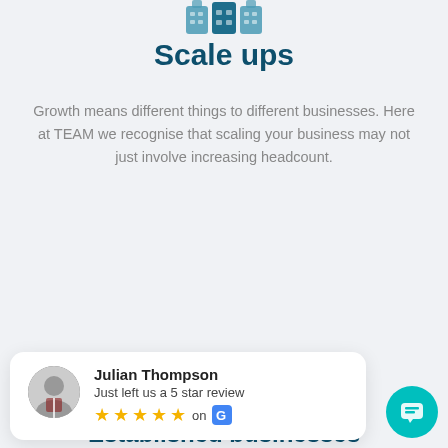[Figure (illustration): Blue icon of a building/office at the top of the page]
Scale ups
Growth means different things to different businesses. Here at TEAM we recognise that scaling your business may not just involve increasing headcount.
[Figure (screenshot): Yellow 'Learn more' button with TEAM chat avatar and popup saying 'Got any questions regarding TEAM? I'm happy to help. ☺']
[Figure (photo): Review card showing Julian Thompson with 5 star review on Google]
Established businesses